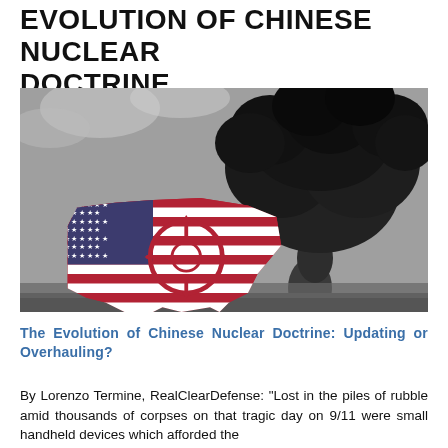EVOLUTION OF CHINESE NUCLEAR DOCTRINE
3/16/2018
0 Comments
[Figure (photo): Composite image showing a U.S. map styled with American flag colors and a nuclear target crosshair overlaid, set against a dramatic background of a large black mushroom cloud from a nuclear explosion.]
The Evolution of Chinese Nuclear Doctrine: Updating or Overhauling?
By Lorenzo Termine, RealClearDefense: “Lost in the piles of rubble amid thousands of corpses on that tragic day on 9/11 were small handheld devices which afforded the